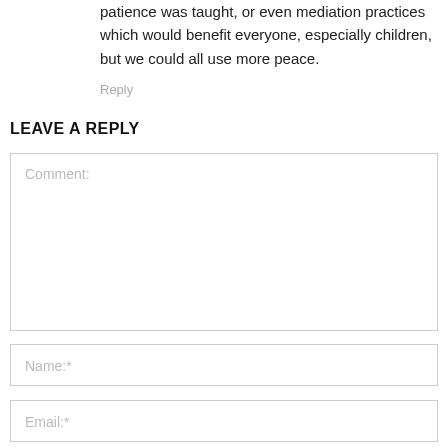patience was taught, or even mediation practices which would benefit everyone, especially children, but we could all use more peace.
Reply
LEAVE A REPLY
Comment:
Name:*
Email:*